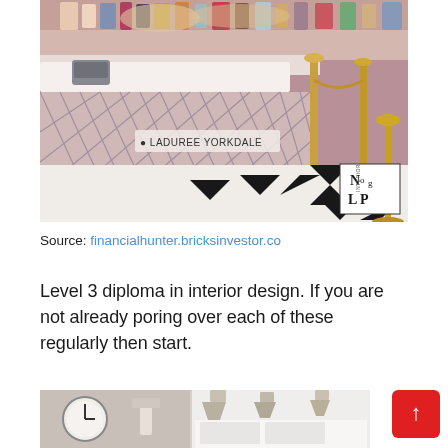[Figure (photo): Interior photo of Laduree Yorkdale store counter with decorative trellis paneling, brass stanchions, and geometric black and white floor tiles. Logo watermark 'NLP' visible in bottom right corner. '@LADUREE YORKDALE' text overlay on left side.]
Source: financialhunter.bricksinvestor.co
Level 3 diploma in interior design. If you are not already poring over each of these regularly then start.
[Figure (photo): Bottom partial photo showing interior design images: a clock on the left and modern kitchen/interior lighting fixtures on the right.]